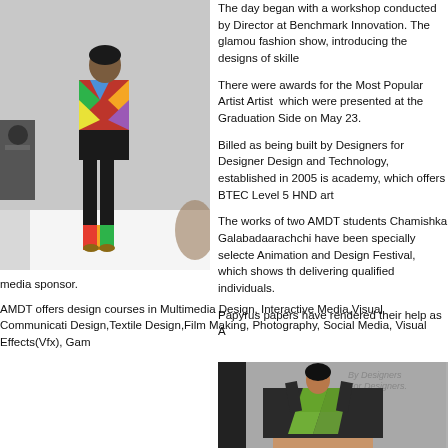[Figure (photo): Fashion model on runway wearing colorful patterned top and black pants]
The day began with a workshop conducted by Director at Benchmark Innovation. The glamour fashion show, introducing the designs of skilled
There were awards for the Most Popular Artist Artist which were presented at the Graduation Side on May 23.
Billed as being built by Designers for Designers Design and Technology, established in 2005 is academy, which offers BTEC Level 5 HND art
The works of two AMDT students Chamishka Galabadaarachchi have been specially selected Animation and Design Festival, which shows the delivering qualified individuals.
Papyrus papers have rendered their help as A media sponsor.
AMDT offers design courses in Multimedia Design, Interactive Media,Visual Communication Design,Textile Design,Film Making, Photography, Social Media, Visual Effects(Vfx), Game
[Figure (photo): Fashion model wearing green and black crop top with text 'By Designers For Designers']